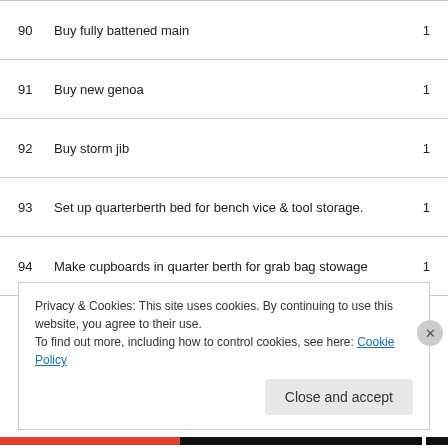90  Buy fully battened main  1
91  Buy new genoa  1
92  Buy storm jib  1
93  Set up quarterberth bed for bench vice & tool storage.  1
94  Make cupboards in quarter berth for grab bag stowage  1
95  Replace barometer interior  1
Privacy & Cookies: This site uses cookies. By continuing to use this website, you agree to their use.
To find out more, including how to control cookies, see here: Cookie Policy
Close and accept